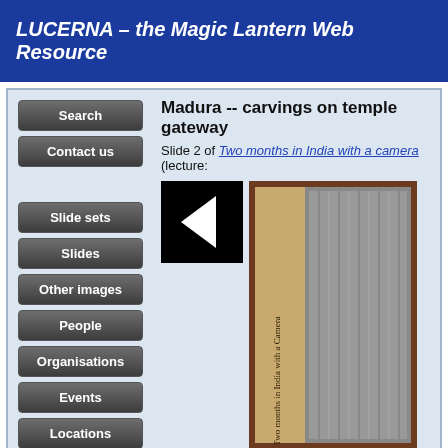LUCERNA – the Magic Lantern Web Resource
Madura -- carvings on temple gateway
Slide 2 of Two months in India with a camera (lecture:
[Figure (screenshot): Navigation back button (black square with left-pointing triangle/arrow) and partial view of a magic lantern slide showing temple carvings with text 'Two months in India with a Camera']
Search
Contact us
Slide sets
Slides
Other images
People
Organisations
Events
Locations